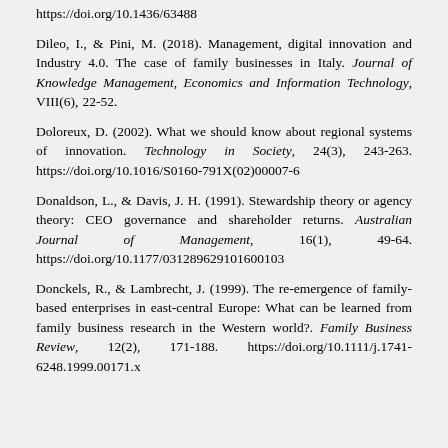https://doi.org/10.1436/63488
Dileo, I., & Pini, M. (2018). Management, digital innovation and Industry 4.0. The case of family businesses in Italy. Journal of Knowledge Management, Economics and Information Technology, VIII(6), 22-52.
Doloreux, D. (2002). What we should know about regional systems of innovation. Technology in Society, 24(3), 243-263. https://doi.org/10.1016/S0160-791X(02)00007-6
Donaldson, L., & Davis, J. H. (1991). Stewardship theory or agency theory: CEO governance and shareholder returns. Australian Journal of Management, 16(1), 49-64. https://doi.org/10.1177/031289629101600103
Donckels, R., & Lambrecht, J. (1999). The re-emergence of family-based enterprises in east-central Europe: What can be learned from family business research in the Western world?. Family Business Review, 12(2), 171-188. https://doi.org/10.1111/j.1741-6248.1999.00171.x